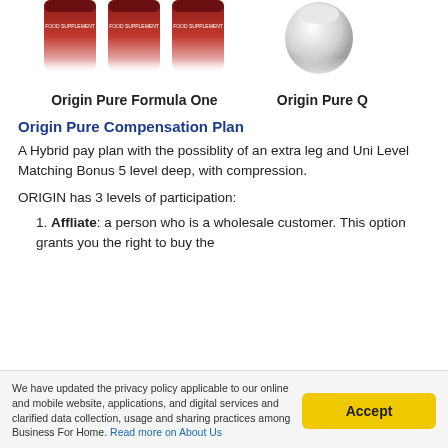[Figure (photo): Red product containers (Origin Pure Formula One supplements) arranged in a row, partially cropped at top]
Origin Pure Formula One
[Figure (photo): White round device (Origin Pure Q product), partially cropped at top right]
Origin Pure Q
Origin Pure Compensation Plan
A Hybrid pay plan with the possiblity of an extra leg and Uni Level Matching Bonus 5 level deep, with compression.
ORIGIN has 3 levels of participation:
Affliate: a person who is a wholesale customer. This option grants you the right to buy the
We have updated the privacy policy applicable to our online and mobile website, applications, and digital services and clarified data collection, usage and sharing practices among Business For Home. Read more on About Us